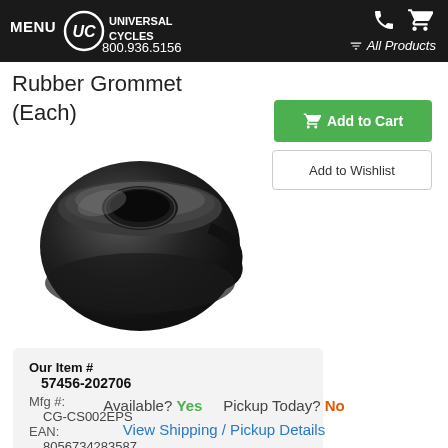MENU  UC UNIVERSAL CYCLES  800.936.5156  All Products
Rubber Grommet (Each)
[Figure (photo): Black rubber grommet component, viewed from above at an angle, showing the cylindrical shape with a slot/opening]
| Our Item # | 57456-202706 |
| Mfg #: | CG-CS002EPS |
| EAN: | 8056734283587 |
| Other #s: | CY9033 |
Available? Yes   Pickup Today? No
View Shipping / Pickup Details